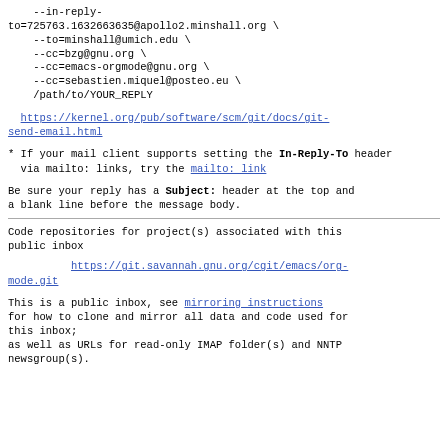--in-reply-to=725763.1632663635@apollo2.minshall.org \
    --to=minshall@umich.edu \
    --cc=bzg@gnu.org \
    --cc=emacs-orgmode@gnu.org \
    --cc=sebastien.miquel@posteo.eu \
    /path/to/YOUR_REPLY
https://kernel.org/pub/software/scm/git/docs/git-send-email.html
* If your mail client supports setting the In-Reply-To header
  via mailto: links, try the mailto: link
Be sure your reply has a Subject: header at the top and a blank line before the message body.
Code repositories for project(s) associated with this public inbox
https://git.savannah.gnu.org/cgit/emacs/org-mode.git
This is a public inbox, see mirroring instructions
for how to clone and mirror all data and code used for this inbox;
as well as URLs for read-only IMAP folder(s) and NNTP newsgroup(s).